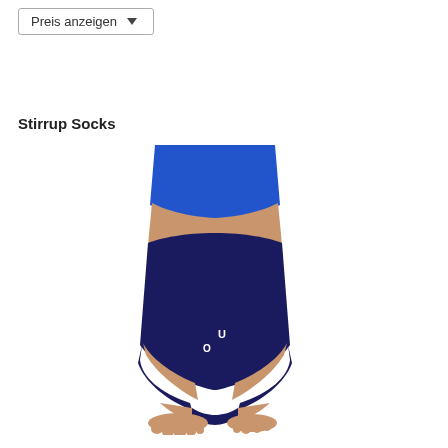Preis anzeigen
Stirrup Socks
[Figure (photo): A person's leg wearing a navy blue stirrup sock (no foot coverage, open toe/heel) with blue shorts. The sock covers the calf and lower leg with a strap under the foot. A small white logo is visible on the lower calf area.]